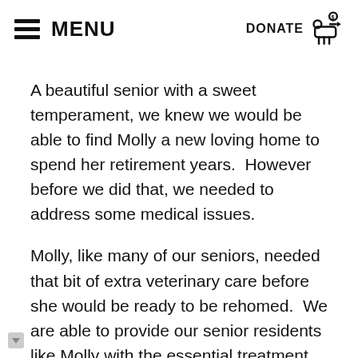MENU   DONATE
A beautiful senior with a sweet temperament, we knew we would be able to find Molly a new loving home to spend her retirement years.  However before we did that, we needed to address some medical issues.
Molly, like many of our seniors, needed that bit of extra veterinary care before she would be ready to be rehomed.  We are able to provide our senior residents like Molly with the essential treatment they need thanks to the support of the community who generously donate to our Senior Pet Project.
Our goal is to raise $150,000 by 30 June in order to fund the Senior Pet Project for the